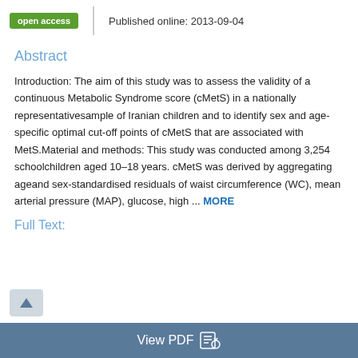open access   Published online: 2013-09-04
Abstract
Introduction: The aim of this study was to assess the validity of a continuous Metabolic Syndrome score (cMetS) in a nationally representativesample of Iranian children and to identify sex and age-specific optimal cut-off points of cMetS that are associated with MetS.Material and methods: This study was conducted among 3,254 schoolchildren aged 10–18 years. cMetS was derived by aggregating ageand sex-standardised residuals of waist circumference (WC), mean arterial pressure (MAP), glucose, high ... MORE
Full Text: